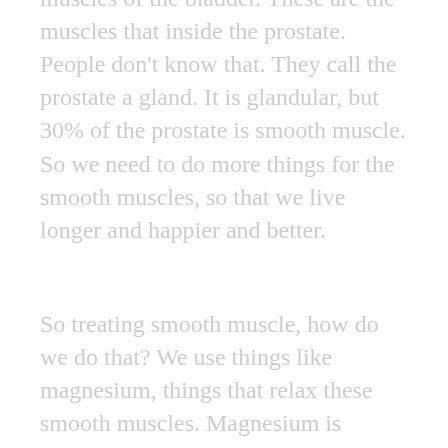muscles of the bladder. These are the muscles that inside the prostate. People don't know that. They call the prostate a gland. It is glandular, but 30% of the prostate is smooth muscle. So we need to do more things for the smooth muscles, so that we live longer and happier and better.
So treating smooth muscle, how do we do that? We use things like magnesium, things that relax these smooth muscles. Magnesium is excellent. Citrate, threonate, malate, glycinate, they're all good, and they all have different purposes. But magnesium is good.
I like certain botanicals to calm down the smooth muscles, because the smooth muscles tend to become hyperactive as we age. Hyperactive smooth muscles affect the bladder, causing this uncontrolled, and you have to urinate more. With the prostate and stones, are many contributing, and you have to urinate more. So botanicals like lemon balm and oat straw, these are part of an...